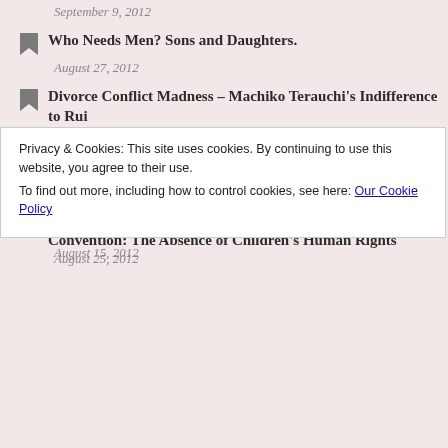get the custody of my child.
September 9, 2012
Who Needs Men? Sons and Daughters.
August 27, 2012
Divorce Conflict Madness – Machiko Terauchi's Indifference to Rui
August 27, 2012
Japan Abducts Children (2)
August 25, 2012
Japan's Continuing Failure to Sign the Hague Abduction Convention: The Absence of Children's Human Rights
August 25, 2012
Privacy & Cookies: This site uses cookies. By continuing to use this website, you agree to their use.
To find out more, including how to control cookies, see here: Our Cookie Policy
Close and accept
August 15, 2012